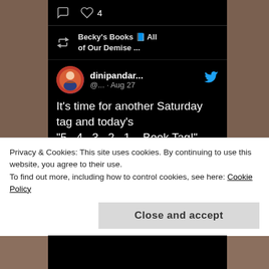[Figure (screenshot): A Twitter/social media card screenshot on a dark wooden background. Shows a tweet by dinipandar... (@... · Aug 27) retweeted by Becky's Books All of Our Demise. Tweet text: It's time for another Saturday tag and today's '5...4...3...2...1... Book Tag!' was found on @beckyc_89's blog. See any of your faves on here? #BookBlogger #BookTag dinipandareads.com/2022/08. Also shows comment icon and heart icon with 4 likes at top.]
Privacy & Cookies: This site uses cookies. By continuing to use this website, you agree to their use.
To find out more, including how to control cookies, see here: Cookie Policy
Close and accept